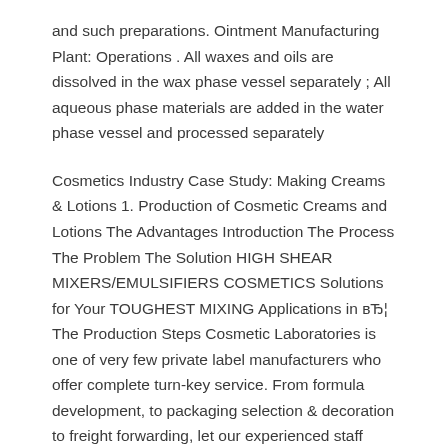and such preparations. Ointment Manufacturing Plant: Operations . All waxes and oils are dissolved in the wax phase vessel separately ; All aqueous phase materials are added in the water phase vessel and processed separately
Cosmetics Industry Case Study: Making Creams & Lotions 1. Production of Cosmetic Creams and Lotions The Advantages Introduction The Process The Problem The Solution HIGH SHEAR MIXERS/EMULSIFIERS COSMETICS Solutions for Your TOUGHEST MIXING Applications in вЂ¦ The Production Steps Cosmetic Laboratories is one of very few private label manufacturers who offer complete turn-key service. From formula development, to packaging selection & decoration to freight forwarding, let our experienced staff assist you every step of the way, without the hassle of having to research and investigate each step on your own.